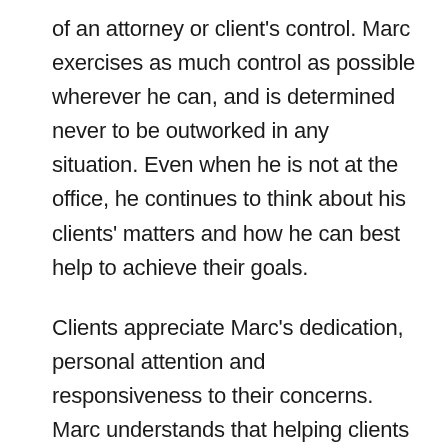of an attorney or client's control. Marc exercises as much control as possible wherever he can, and is determined never to be outworked in any situation. Even when he is not at the office, he continues to think about his clients' matters and how he can best help to achieve their goals.
Clients appreciate Marc's dedication, personal attention and responsiveness to their concerns. Marc understands that helping clients know what to expect, and giving them honest answers at every stage of their legal matter, makes the process better for